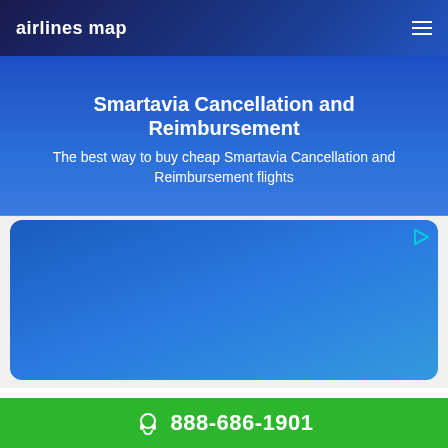airlines map
Smartavia Cancellation and Reimbursement
The best way to buy cheap Smartavia Cancellation and Reimbursement flights
[Figure (other): Blue advertisement banner with rounded corners and an ad icon in the top right corner]
888-686-1901